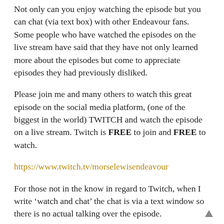Not only can you enjoy watching the episode but you can chat (via text box) with other Endeavour fans. Some people who have watched the episodes on the live stream have said that they have not only learned more about the episodes but come to appreciate episodes they had previously disliked.
Please join me and many others to watch this great episode on the social media platform, (one of the biggest in the world) TWITCH and watch the episode on a live stream. Twitch is FREE to join and FREE to watch.
https://www.twitch.tv/morselewisendeavour
For those not in the know in regard to Twitch, when I write ‘watch and chat’ the chat is via a text window so there is no actual talking over the episode.